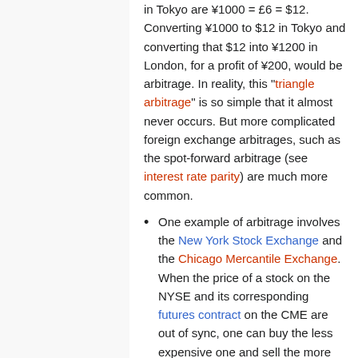in Tokyo are ¥1000 = £6 = $12. Converting ¥1000 to $12 in Tokyo and converting that $12 into ¥1200 in London, for a profit of ¥200, would be arbitrage. In reality, this "triangle arbitrage" is so simple that it almost never occurs. But more complicated foreign exchange arbitrages, such as the spot-forward arbitrage (see interest rate parity) are much more common.
One example of arbitrage involves the New York Stock Exchange and the Chicago Mercantile Exchange. When the price of a stock on the NYSE and its corresponding futures contract on the CME are out of sync, one can buy the less expensive one and sell the more expensive. Because the differences between the